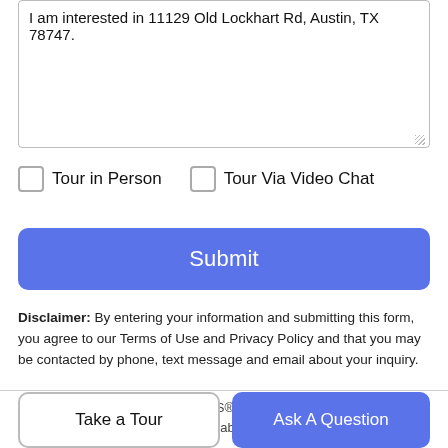I am interested in 11129 Old Lockhart Rd, Austin, TX 78747.
Tour in Person
Tour Via Video Chat
Submit
Disclaimer: By entering your information and submitting this form, you agree to our Terms of Use and Privacy Policy and that you may be contacted by phone, text message and email about your inquiry.
© 2022 Austin Board of REALTORS® (alternatively, from ACTRIS). All information provided is deemed reliable but is not guaranteed.
Take a Tour
Ask A Question